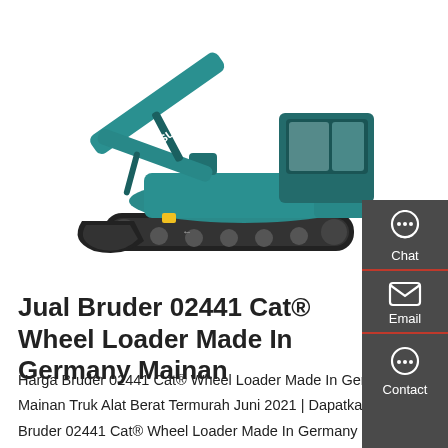[Figure (photo): A teal/turquoise Sunward mini excavator on white background, with the brand name SUNWARD visible on the arm, facing left with bucket lowered.]
Jual Bruder 02441 Cat® Wheel Loader Made In Germany Mainan
Harga Bruder 02441 Cat® Wheel Loader Made In Germany Mainan Truk Alat Berat Termurah Juni 2021 | Dapatkan Promo Bruder 02441 Cat® Wheel Loader Made In Germany Mainan Truk Alat Berat Hanya Di Blibli 🚚 Gratis Ongkir Original 🎁